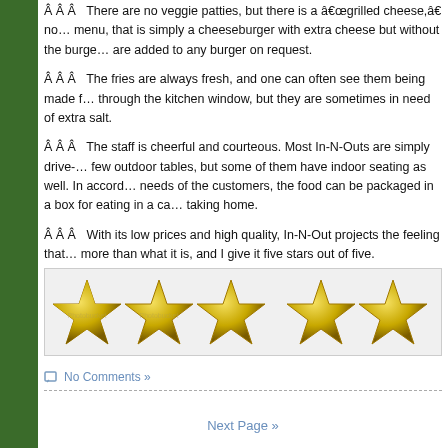Â Â Â  There are no veggie patties, but there is a â€œgrilled cheese,â€ not on the menu, that is simply a cheeseburger with extra cheese but without the burger. Vegetables are added to any burger on request.
Â Â Â  The fries are always fresh, and one can often see them being made through the kitchen window, but they are sometimes in need of extra salt.
Â Â Â  The staff is cheerful and courteous. Most In-N-Outs are simply drive-thrus with a few outdoor tables, but some of them have indoor seating as well. In accordance with the needs of the customers, the food can be packaged in a box for eating in a car, or a bag for taking home.
Â Â Â  With its low prices and high quality, In-N-Out projects the feeling that it is something more than what it is, and I give it five stars out of five.
[Figure (illustration): Five gold stars (rating image with watermark)]
No Comments »
Next Page »